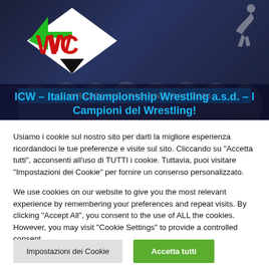[Figure (logo): ICW Italian Championship Wrestling logo with stylized ICW letters in red/black/green on white diamond shape, banner with blue background saying IL WRESTLING ITALIANO DAL 2001, dark background with crowd]
ICW – Italian Championship Wrestling a.s.d. – I Campioni del Wrestling!
Usiamo i cookie sul nostro sito per darti la migliore esperienza ricordandoci le tue preferenze e visite sul sito. Cliccando su "Accetta tutti", acconsenti all'uso di TUTTI i cookie. Tuttavia, puoi visitare "Impostazioni dei Cookie" per fornire un consenso personalizzato.
We use cookies on our website to give you the most relevant experience by remembering your preferences and repeat visits. By clicking "Accept All", you consent to the use of ALL the cookies. However, you may visit "Cookie Settings" to provide a controlled consent.
Impostazioni dei Cookie
Accetta tutti